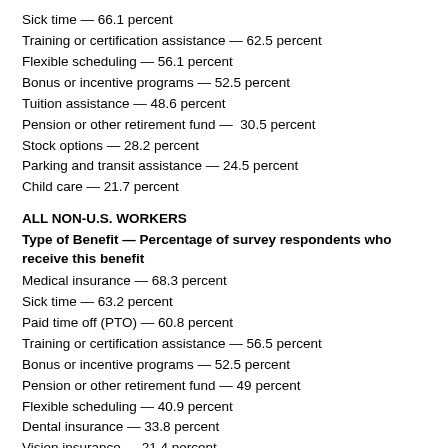Sick time — 66.1 percent
Training or certification assistance — 62.5 percent
Flexible scheduling — 56.1 percent
Bonus or incentive programs — 52.5 percent
Tuition assistance — 48.6 percent
Pension or other retirement fund —  30.5 percent
Stock options — 28.2 percent
Parking and transit assistance — 24.5 percent
Child care — 21.7 percent
ALL NON-U.S. WORKERS
Type of Benefit — Percentage of survey respondents who receive this benefit
Medical insurance — 68.3 percent
Sick time — 63.2 percent
Paid time off (PTO) — 60.8 percent
Training or certification assistance — 56.5 percent
Bonus or incentive programs — 52.5 percent
Pension or other retirement fund — 49 percent
Flexible scheduling — 40.9 percent
Dental insurance — 33.8 percent
Vision insurance — 21.4 percent
Stock options — 19.7 percent